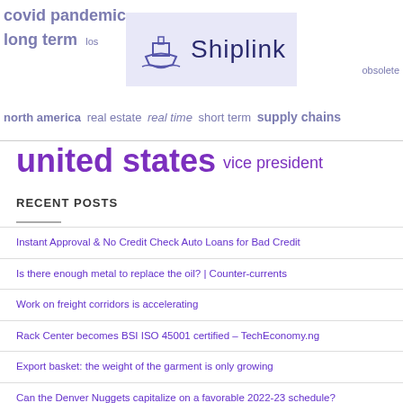[Figure (logo): Shiplink logo with ship icon on lavender background]
covid pandemic  air mail  petty losses  global supply  long term  loss  obsolete  north america  real estate  real time  short term  supply chains
united states  vice president
RECENT POSTS
Instant Approval & No Credit Check Auto Loans for Bad Credit
Is there enough metal to replace the oil? | Counter-currents
Work on freight corridors is accelerating
Rack Center becomes BSI ISO 45001 certified – TechEconomy.ng
Export basket: the weight of the garment is only growing
Can the Denver Nuggets capitalize on a favorable 2022-23 schedule?